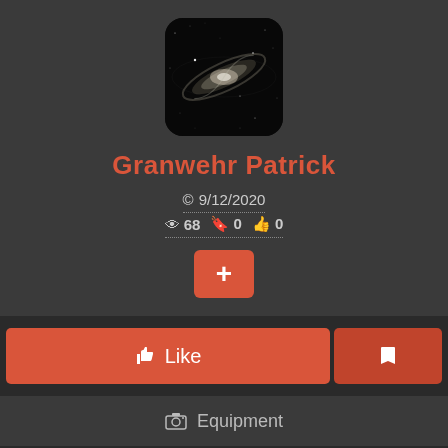[Figure (photo): Rounded square app icon showing a galaxy (Andromeda-like spiral galaxy) on a dark/black background]
Granwehr Patrick
© 9/12/2020  👁 68  🔖 0  👍 0
[Figure (infographic): Orange/red rounded + button]
[Figure (infographic): Like button (thumbs up icon + Like text) and bookmark button side by side, both in orange/red]
📷 Equipment
Imaging Telescopes Or Lenses